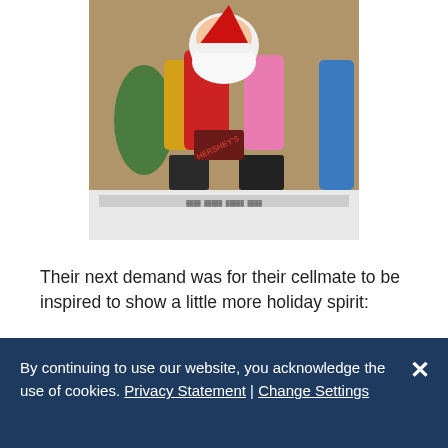[Figure (photo): Photo of colorful Santa Claus and gnome figurines with a Hershey's chocolate bar, displayed on what appears to be a shelf or table with Christmas decorations.]
Their next demand was for their cellmate to be inspired to show a little more holiday spirit:
[Figure (photo): Photo showing what appears to be dark cat ears silhouetted against a white ceiling, with a small star-shaped light visible in the background.]
By continuing to use our website, you acknowledge the use of cookies. Privacy Statement | Change Settings